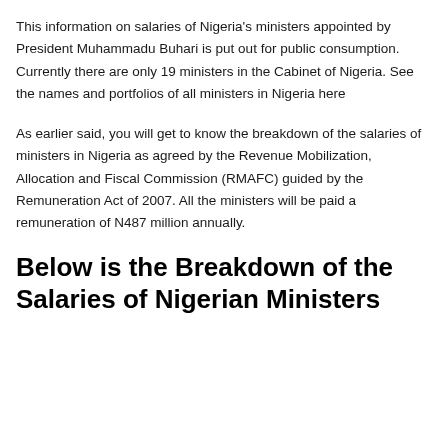This information on salaries of Nigeria's ministers appointed by President Muhammadu Buhari is put out for public consumption. Currently there are only 19 ministers in the Cabinet of Nigeria. See the names and portfolios of all ministers in Nigeria here
As earlier said, you will get to know the breakdown of the salaries of ministers in Nigeria as agreed by the Revenue Mobilization, Allocation and Fiscal Commission (RMAFC) guided by the Remuneration Act of 2007. All the ministers will be paid a remuneration of N487 million annually.
Below is the Breakdown of the Salaries of Nigerian Ministers